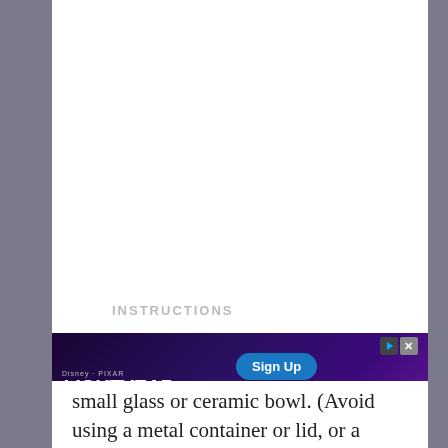[Figure (other): White blank upper section of a recipe page, above a horizontal divider line]
INSTRUCTIONS
[Figure (other): Advertisement overlay for Disney+ Lightyear movie: 'Now streaming' with Sign Up button, partially covering step 1 text]
small glass or ceramic bowl. (Avoid using a metal container or lid, or a